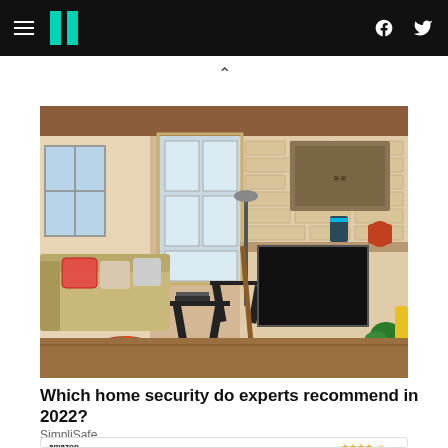HuffPost navigation bar with hamburger menu, logo, Facebook and Twitter icons
[Figure (photo): Interior living room photo showing a white brick fireplace with a mantle, decorative art hanging above, a sofa with colorful pillows, floor lamp, small black side tables, plants, and a blue-lit smart speaker on the mantle]
Which home security do experts recommend in 2022?
SimpliSafe
[Figure (photo): Amazon product listing card showing a book with title starting with WHEN, with 4.5 star rating in gold]